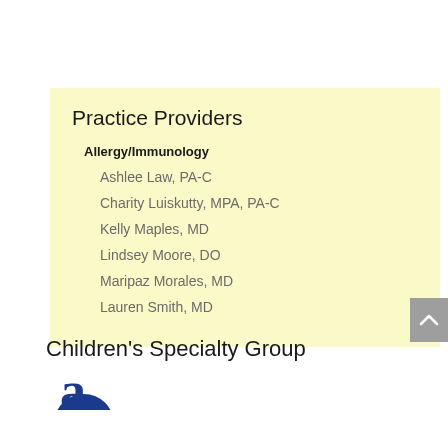Practice Providers
Allergy/Immunology
Ashlee Law, PA-C
Charity Luiskutty, MPA, PA-C
Kelly Maples, MD
Lindsey Moore, DO
Maripaz Morales, MD
Lauren Smith, MD
Children's Specialty Group
[Figure (logo): Children's Specialty Group logo - partial blue letter visible at bottom]